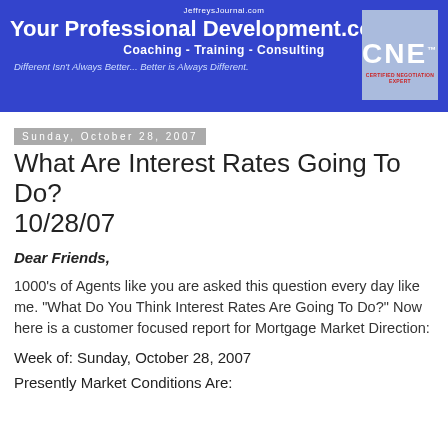JeffreysJournal.com
Your Professional Development.com
Coaching - Training - Consulting
Different Isn't Always Better... Better is Always Different.
Sunday, October 28, 2007
What Are Interest Rates Going To Do? 10/28/07
Dear Friends,
1000's of Agents like you are asked this question every day like me. "What Do You Think Interest Rates Are Going To Do?" Now here is a customer focused report for Mortgage Market Direction:
Week of: Sunday, October 28, 2007
Presently Market Conditions Are: